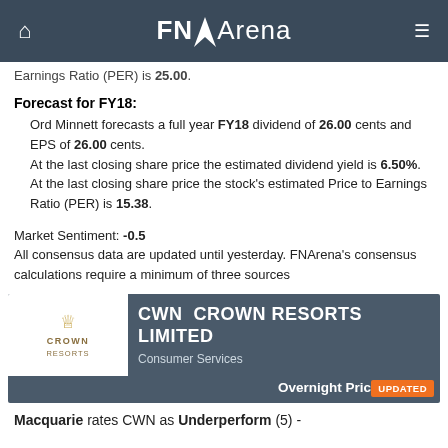FNArena
Earnings Ratio (PER) is 25.00.
Forecast for FY18:
Ord Minnett forecasts a full year FY18 dividend of 26.00 cents and EPS of 26.00 cents.
At the last closing share price the estimated dividend yield is 6.50%.
At the last closing share price the stock's estimated Price to Earnings Ratio (PER) is 15.38.
Market Sentiment: -0.5
All consensus data are updated until yesterday. FNArena's consensus calculations require a minimum of three sources
[Figure (logo): CWN Crown Resorts Limited banner with logo, sector label Consumer Services, and Overnight Price $11.13]
Macquarie rates CWN as Underperform (5) -